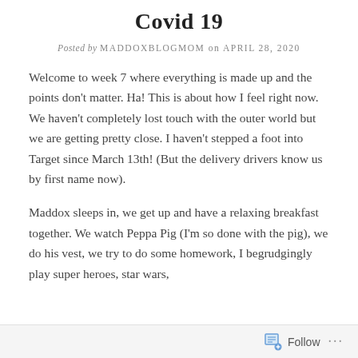Covid 19
Posted by MADDOXBLOGMOM on APRIL 28, 2020
Welcome to week 7 where everything is made up and the points don't matter. Ha! This is about how I feel right now. We haven't completely lost touch with the outer world but we are getting pretty close. I haven't stepped a foot into Target since March 13th! (But the delivery drivers know us by first name now).
Maddox sleeps in, we get up and have a relaxing breakfast together. We watch Peppa Pig (I'm so done with the pig), we do his vest, we try to do some homework, I begrudgingly play super heroes, star wars,
Follow ...